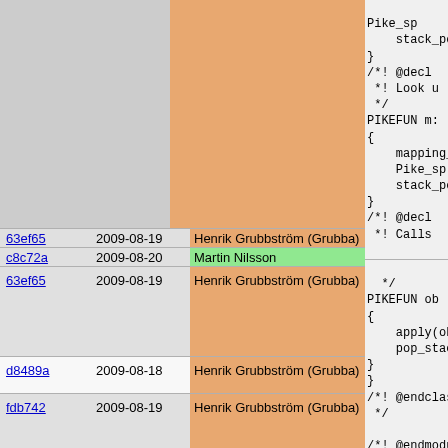| hash | date | author | code |
| --- | --- | --- | --- |
|  |  |  | Pike_sp
    stack_po
}
/*! @decl
 *! Look u
 */
PIKEFUN m:
{
    mapping_
    Pike_sp-
    stack_po
} |
| 63ef65 | 2009-08-19 | Henrik Grubbström (Grubba) | /*! @decl |
| c8c72a | 2009-08-20 | Martin Nilsson | *! Calls |
| 63ef65 | 2009-08-19 | Henrik Grubbström (Grubba) | */
PIKEFUN ob
{
    apply(ob
    pop_stac
} |
| d8489a | 2009-08-18 | Henrik Grubbström (Grubba) | } |
| fdb742 | 2009-08-19 | Henrik Grubbström (Grubba) | /*! @endclas
 */

/*! @endmodu
 */ |